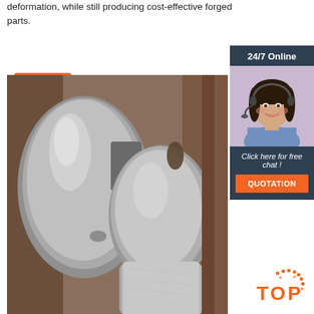deformation, while still producing cost-effective forged parts.
Get Price
[Figure (photo): Close-up photograph of a metal crankshaft forged part showing curved cylindrical sections with metallic sheen and surface texture]
[Figure (photo): Sidebar with customer service agent photo wearing headset, smiling, with '24/7 Online' header, 'Click here for free chat!' text, and QUOTATION button]
[Figure (logo): TOP logo with orange dot pattern above the text in bottom right corner]